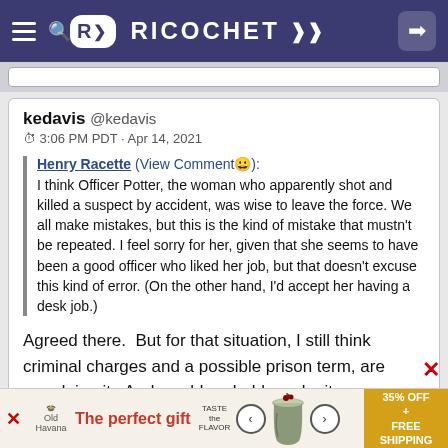[Figure (screenshot): Ricochet website navigation bar with hamburger menu, search icon, R logo badge, RICOCHET text with double chevrons, and login arrow icon, all on dark purple background]
kedavis @kedavis
3:06 PM PDT · Apr 14, 2021
Henry Racette (View Comment😊): I think Officer Potter, the woman who apparently shot and killed a suspect by accident, was wise to leave the force. We all make mistakes, but this is the kind of mistake that mustn't be repeated. I feel sorry for her, given that she seems to have been a good officer who liked her job, but that doesn't excuse this kind of error. (On the other hand, I'd accept her having a desk job.)
Agreed there.  But for that situation, I still think criminal charges and a possible prison term, are overdoing it.  And would probably make it
[Figure (screenshot): Advertisement banner for The Perfect Gift with 35% OFF + FREE SHIPPING offer, showing a rice cooker or food steamer product]